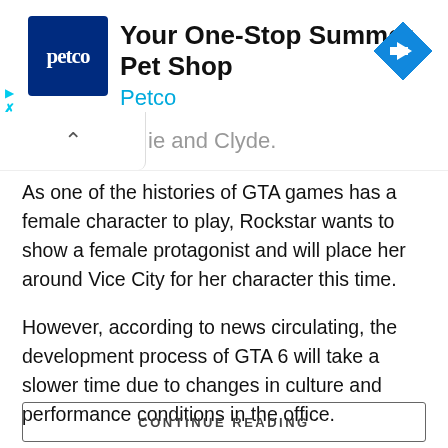[Figure (screenshot): Petco advertisement banner with blue Petco logo on the left, text 'Your One-Stop Summer Pet Shop' and 'Petco' in teal, and a blue diamond navigation arrow icon on the right. Small cyan play and X icons on the far left.]
ie and Clyde.
As one of the histories of GTA games has a female character to play, Rockstar wants to show a female protagonist and will place her around Vice City for her character this time.
However, according to news circulating, the development process of GTA 6 will take a slower time due to changes in culture and performance conditions in the office.
Despite all that, fans of this open-world game still need to wait for official information from Rockstar.
CONTINUE READING